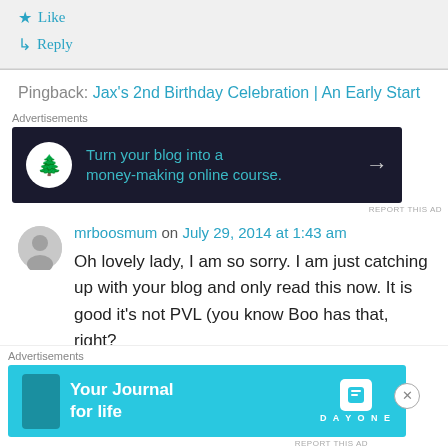★ Like
↳ Reply
Pingback: Jax's 2nd Birthday Celebration | An Early Start
[Figure (other): Dark advertisement banner: Turn your blog into a money-making online course. with arrow and bonsai tree logo]
mrboosmum on July 29, 2014 at 1:43 am
Oh lovely lady, I am so sorry. I am just catching up with your blog and only read this now. It is good it's not PVL (you know Boo has that, right?
[Figure (other): Light blue advertisement banner: Your Journal for life — Day One app]